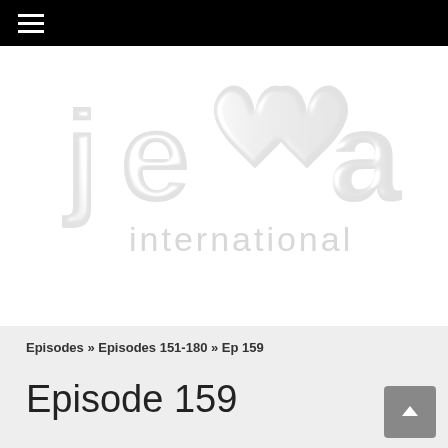Navigation bar with hamburger menu
[Figure (logo): Jemma International logo in light grey/white on white background, featuring stylized text 'jemma' with heart-shaped letters and 'international' below]
Episodes » Episodes 151-180 » Ep 159
Episode 159